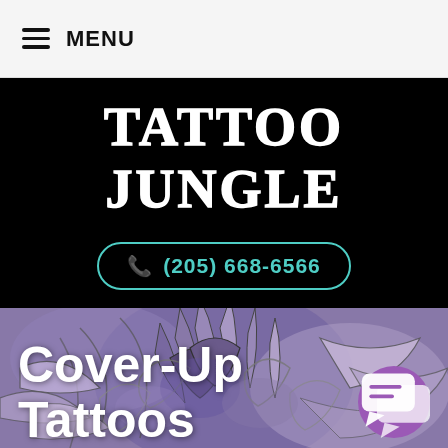MENU
TATTOO JUNGLE
☎ (205) 668-6566
[Figure (photo): Close-up of a purple and grey floral tattoo with chrysanthemum/tropical leaf design]
Cover-Up Tattoos